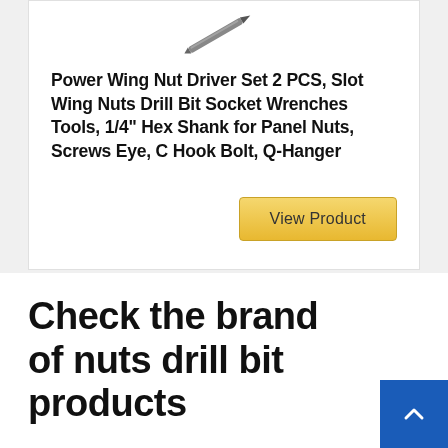[Figure (photo): A drill bit / wing nut driver tool shown at angle on white background]
Power Wing Nut Driver Set 2 PCS, Slot Wing Nuts Drill Bit Socket Wrenches Tools, 1/4" Hex Shank for Panel Nuts, Screws Eye, C Hook Bolt, Q-Hanger
View Product
Check the brand of nuts drill bit products